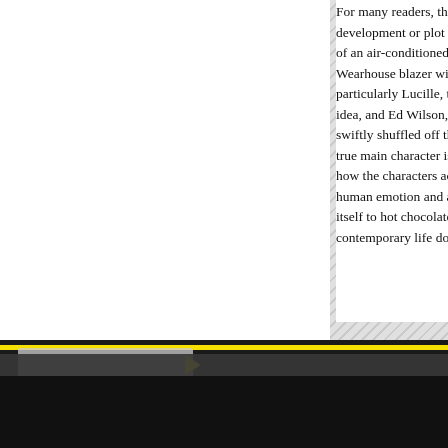For many readers, the development or plot st of an air-conditioned c Wearhouse blazer with particularly Lucille, th idea, and Ed Wilson, t swiftly shuffled off the true main character is how the characters act human emotion and ac itself to hot chocolate contemporary life doe
[Figure (photo): Bottom portion of page showing a dark/black background with a yellow horizontal stripe, a grey tape or label element on the left, and layered dark grey and black bands resembling a physical object or book spine.]